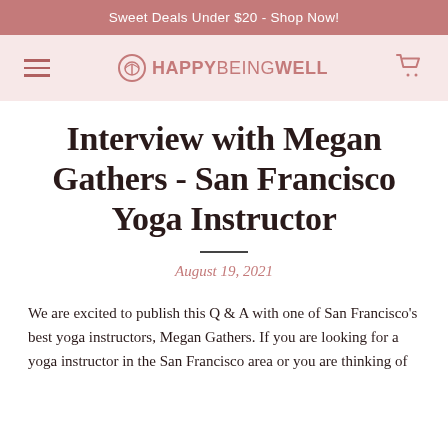Sweet Deals Under $20 - Shop Now!
[Figure (logo): HappyBeingWell logo with hamburger menu on the left and shopping cart icon on the right, on a light pink background]
Interview with Megan Gathers - San Francisco Yoga Instructor
August 19, 2021
We are excited to publish this Q & A with one of San Francisco's best yoga instructors, Megan Gathers. If you are looking for a yoga instructor in the San Francisco area or you are thinking of